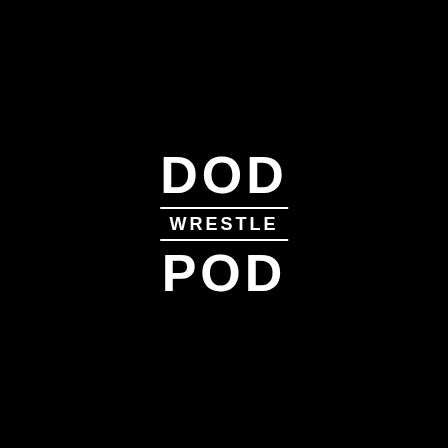[Figure (logo): DOD WRESTLE POD logo in white text on black background. Large bold 'DOD' on top, horizontal white line, smaller bold 'WRESTLE' in the middle, another horizontal white line, large bold 'POD' on the bottom.]